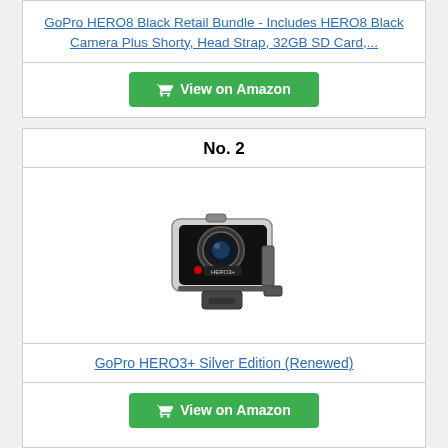GoPro HERO8 Black Retail Bundle - Includes HERO8 Black Camera Plus Shorty, Head Strap, 32GB SD Card,...
View on Amazon
No. 2
[Figure (photo): GoPro HERO3+ Silver Edition action camera in protective housing with mounting bracket]
GoPro HERO3+ Silver Edition (Renewed)
View on Amazon